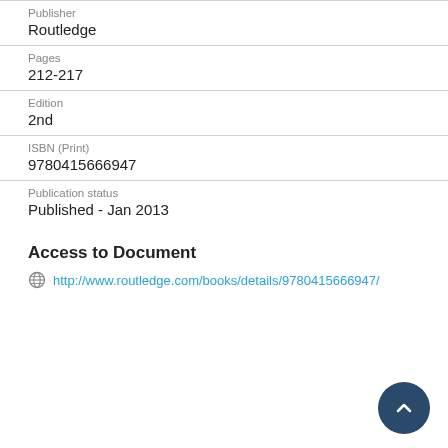Publisher
Routledge
Pages
212-217
Edition
2nd
ISBN (Print)
9780415666947
Publication status
Published - Jan 2013
Access to Document
http://www.routledge.com/books/details/9780415666947/